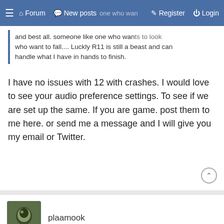≡  Forum  New posts  Register  Login
and best all. someone like one who wants to look who want to fall.... Luckly R11 is still a beast and can handle what I have in hands to finish.
I have no issues with 12 with crashes. I would love to see your audio preference settings. To see if we are set up the same. If you are game. post them to me here. or send me a message and I will give you my email or Twitter.
plaamook
23 Nov 2021